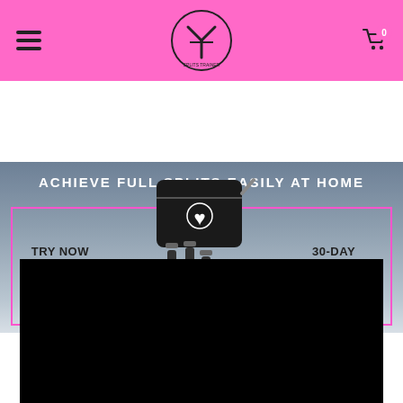[Figure (screenshot): Pink navigation bar with hamburger menu icon on left, circular brand logo in center, and shopping cart icon with badge '0' on right]
[Figure (infographic): Dark grey/slate banner reading 'ACHIEVE FULL SPLITS EASILY AT HOME' with product image in center showing black bag/kit, left text 'TRY NOW 100% RISK FREE' and right text '30-DAY MONEY-BACK GUARANTEE', framed by pink border]
[Figure (other): Black rectangle representing a video or content placeholder area]